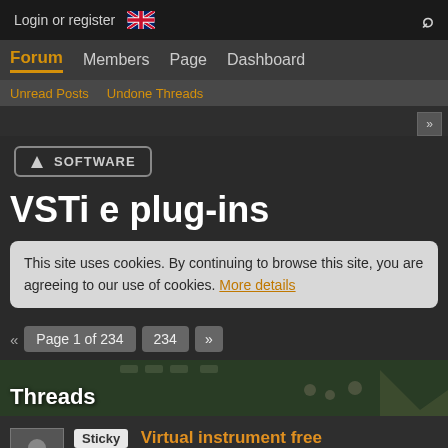Login or register
Forum  Members  Page  Dashboard
Unread Posts  Undone Threads
SOFTWARE
VSTi e plug-ins
This site uses cookies. By continuing to browse this site, you are agreeing to our use of cookies. More details
«  Page 1 of 234  234  »
Threads
Sticky  Virtual instrument free
bubbu - Mar 25th 2003